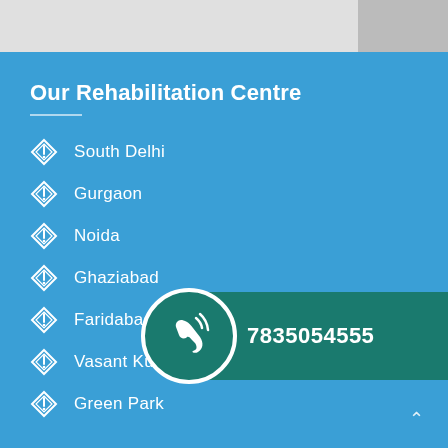Our Rehabilitation Centre
South Delhi
Gurgaon
Noida
Ghaziabad
Faridabad
Vasant Kunj
Green Park
7835054555